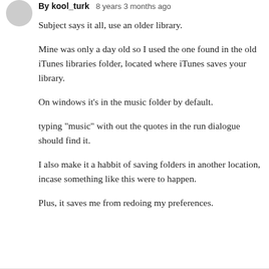By kool_turk · 8 years 3 months ago
Subject says it all, use an older library.
Mine was only a day old so I used the one found in the old iTunes libraries folder, located where iTunes saves your library.
On windows it's in the music folder by default.
typing "music" with out the quotes in the run dialogue should find it.
I also make it a habbit of saving folders in another location, incase something like this were to happen.
Plus, it saves me from redoing my preferences.